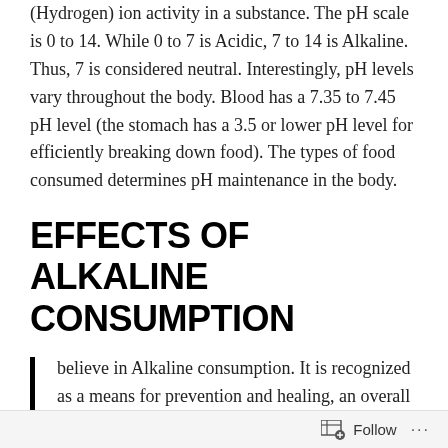(Hydrogen) ion activity in a substance. The pH scale is 0 to 14. While 0 to 7 is Acidic, 7 to 14 is Alkaline. Thus, 7 is considered neutral. Interestingly, pH levels vary throughout the body. Blood has a 7.35 to 7.45 pH level (the stomach has a 3.5 or lower pH level for efficiently breaking down food). The types of food consumed determines pH maintenance in the body.
EFFECTS OF ALKALINE CONSUMPTION
believe in Alkaline consumption. It is recognized as a means for prevention and healing, an overall life-enhancing style of
Follow ···